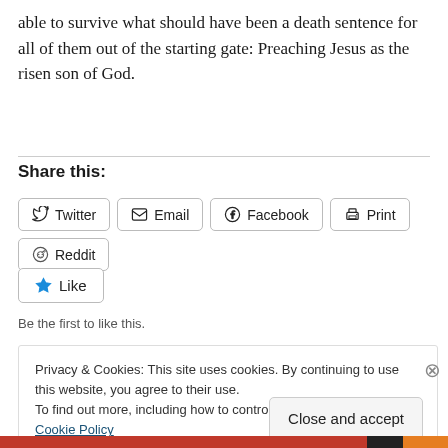able to survive what should have been a death sentence for all of them out of the starting gate: Preaching Jesus as the risen son of God.
Share this:
Twitter  Email  Facebook  Print  Reddit
Like
Be the first to like this.
Privacy & Cookies: This site uses cookies. By continuing to use this website, you agree to their use.
To find out more, including how to control cookies, see here: Cookie Policy
Close and accept